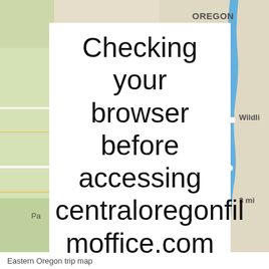[Figure (map): Background map showing Oregon region with roads and geographic features, partially visible behind a white overlay modal. Blue river/road visible on right side. Text 'OREGON' visible top right, 'Wildli' partially visible mid-right, '3 mi' partially visible lower right, 'Pa' partially visible left side.]
Checking your browser before accessing centraloregonfilmoffice.com
This process is automatic. Your browser will redirect to your requested content shortly. Please allow up to 10 seconds...
Eastern Oregon trip map